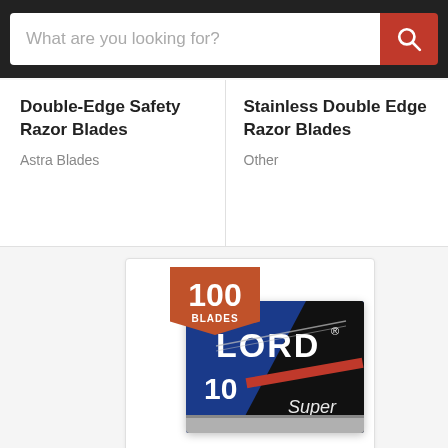[Figure (screenshot): Search bar with white input field reading 'What are you looking for?' and orange search button with magnifying glass icon]
Double-Edge Safety Razor Blades
Astra Blades
Stainless Double Edge Razor Blades
Other
[Figure (photo): LORD Super Stainless razor blades box (blue and black) with 100 blades banner badge, showing 10 blades per pack]
$12.75 USD
100 Lord Super Stainless Double-Edge Safety Razor Blades